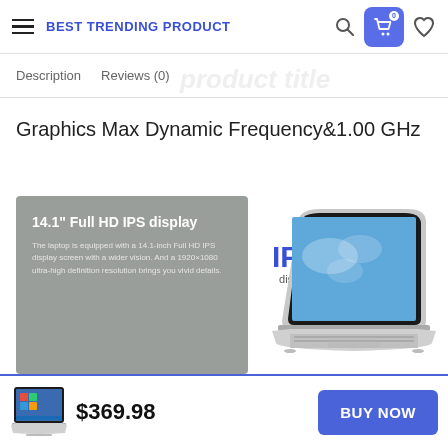BEST TRENDING PRODUCT
Description   Reviews (0)
Graphics Max Dynamic Frequency&1.00 GHz
[Figure (photo): Gray info box with text '14.1" Full HD IPS display' and laptop product image showing IPS display label, alongside a silver laptop rendering with blue screen]
$369.98   BUY NOW